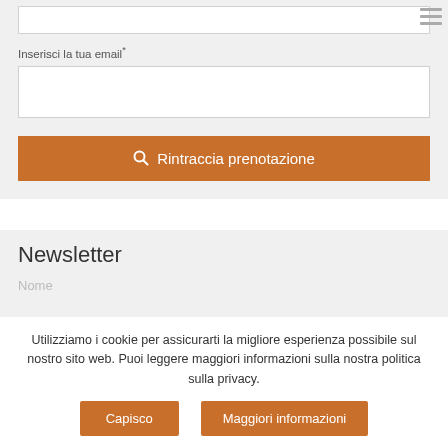[Figure (screenshot): Top input field (partially visible, empty text input box)]
Inserisci la tua email*
[Figure (screenshot): Email input field (empty text input box)]
🔍 Rintraccia prenotazione
Newsletter
Utilizziamo i cookie per assicurarti la migliore esperienza possibile sul nostro sito web. Puoi leggere maggiori informazioni sulla nostra politica sulla privacy.
Capisco
Maggiori informazioni